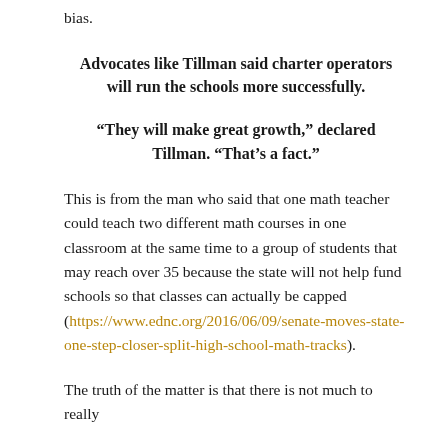bias.
Advocates like Tillman said charter operators will run the schools more successfully.
“They will make great growth,” declared Tillman. “That’s a fact.”
This is from the man who said that one math teacher could teach two different math courses in one classroom at the same time to a group of students that may reach over 35 because the state will not help fund schools so that classes can actually be capped (https://www.ednc.org/2016/06/09/senate-moves-state-one-step-closer-split-high-school-math-tracks).
The truth of the matter is that there is not much to really